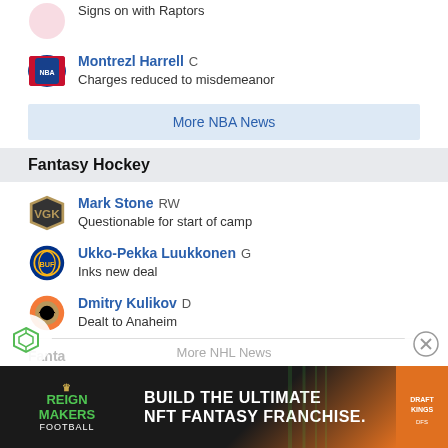Signs on with Raptors
Montrezl Harrell C — Charges reduced to misdemeanor
More NBA News
Fantasy Hockey
Mark Stone RW — Questionable for start of camp
Ukko-Pekka Luukkonen G — Inks new deal
Dmitry Kulikov D — Dealt to Anaheim
More NHL News
[Figure (infographic): Advertisement banner: Draftkings Reign Makers Football — Build The Ultimate NFT Fantasy Franchise.]
Fanta